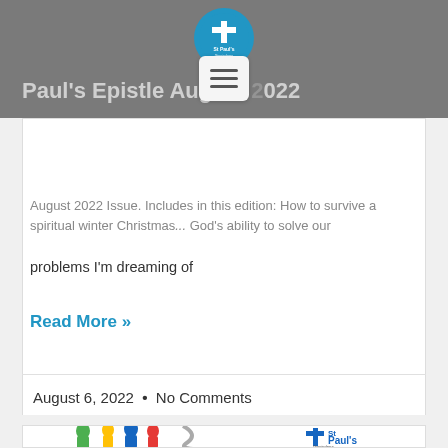Paul's Epistle August 2022
[Figure (logo): St Paul's Ginninderra Anglican circular blue logo with white cross]
[Figure (other): Hamburger menu icon]
August 2022 Issue. Includes in this edition: How to survive a spiritual winter Christmas... God's ability to solve our problems I'm dreaming of
Read More »
August 6, 2022  •  No Comments
[Figure (illustration): Colorful stylized people figures in green, yellow, blue, red with gray flame/swirl shapes, alongside St Paul's Ginninderra Anglican logo]